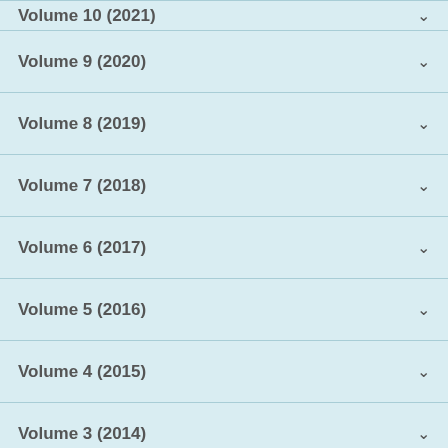Volume 10 (2021)
Volume 9 (2020)
Volume 8 (2019)
Volume 7 (2018)
Volume 6 (2017)
Volume 5 (2016)
Volume 4 (2015)
Volume 3 (2014)
Volume 2 (2013)
Volume 1 (2012)
Volume & Issue: Volume 3, Issue 2, June 2014, Pages 49-91